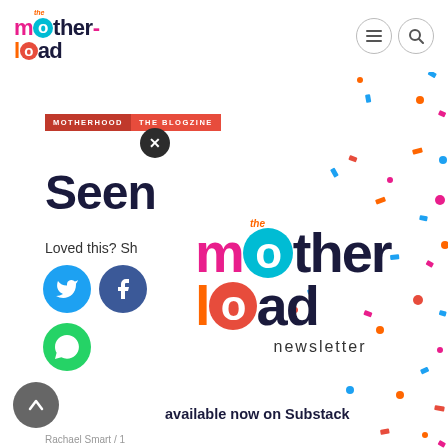[Figure (logo): The Motherload logo - colorful text logo with 'the' in orange italic, 'mother' in pink/teal/dark blue, 'load' in orange/red/dark blue]
[Figure (other): Navigation icons: hamburger menu and search icon in circular outlines]
[Figure (other): Colorful confetti dots scattered across the background]
MOTHERHOOD
THE BLOGZINE
Seen
Loved this? Sh
[Figure (other): Twitter share button - blue circle with bird icon]
[Figure (other): Facebook share button - dark blue circle with f icon]
[Figure (other): WhatsApp share button - green circle with phone icon]
[Figure (other): Scroll to top button - grey circle with up arrow]
[Figure (logo): The Motherload newsletter logo - large colorful version with 'newsletter' text below]
available now on Substack
Rachael Smart / 1